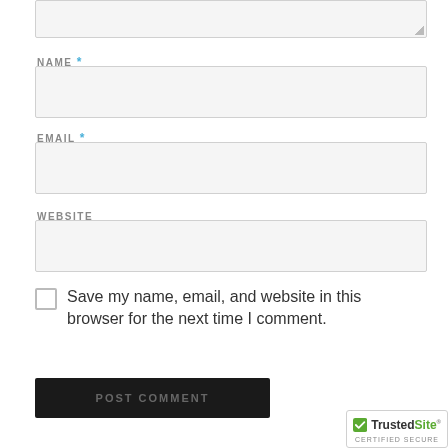[Figure (screenshot): Top portion of comment form textarea (partially visible at top)]
NAME *
[Figure (screenshot): Name input field (empty text box)]
EMAIL *
[Figure (screenshot): Email input field (empty text box)]
WEBSITE
[Figure (screenshot): Website input field (empty text box)]
Save my name, email, and website in this browser for the next time I comment.
[Figure (screenshot): POST COMMENT submit button (dark/black background)]
[Figure (logo): TrustedSite CERTIFIED SECURE badge]